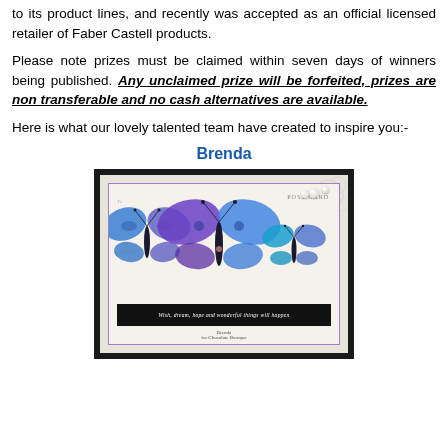to its product lines, and recently was accepted as an official licensed retailer of Faber Castell products.
Please note prizes must be claimed within seven days of winners being published. Any unclaimed prize will be forfeited, prizes are non transferable and no cash alternatives are available.
Here is what our lovely talented team have created to inspire you:-
Brenda
[Figure (photo): A handmade greeting card featuring three blue and purple butterflies on a postcard-style background with cursive text. The card has a black border and includes a sentiment bar reading 'Wish, dream, hope and wonderful things will happen'. Signed 'Brenda for Chocolate Baroque'.]